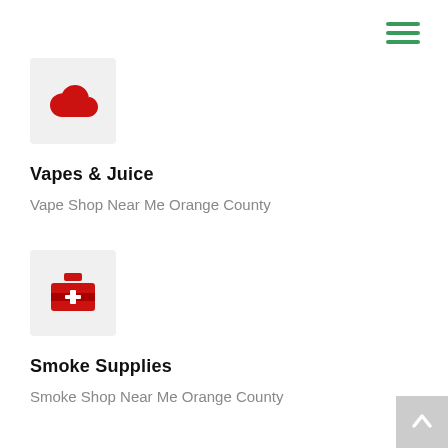[Figure (illustration): Hamburger/navigation menu icon with three green horizontal lines, top right corner]
[Figure (illustration): Red cloud icon inside a light gray square box]
Vapes & Juice
Vape Shop Near Me Orange County
[Figure (illustration): Red toolbox/briefcase icon with a plus sign inside a light gray square box]
Smoke Supplies
Smoke Shop Near Me Orange County
[Figure (illustration): Gray scroll-to-top button with white upward arrow, bottom right corner]